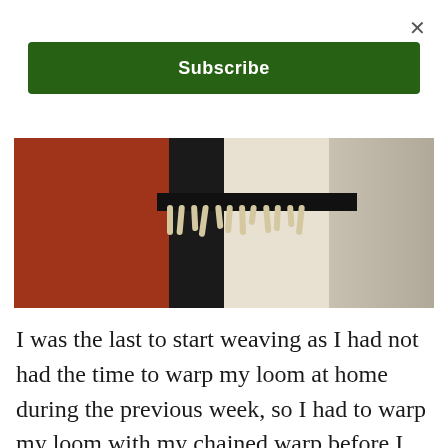×
Subscribe
[Figure (photo): Close-up photograph of woven textiles side by side: a dark red/maroon flat-woven fabric on the left, a black woven piece in the center with cream/tan fringe hanging down, and a chunky cream/white and grey textured woven piece on the right.]
I was the last to start weaving as I had not had the time to warp my loom at home during the previous week, so I had to warp my loom with my chained warp before I could start weaving. Luckily, I had Martin's help so I had excellent